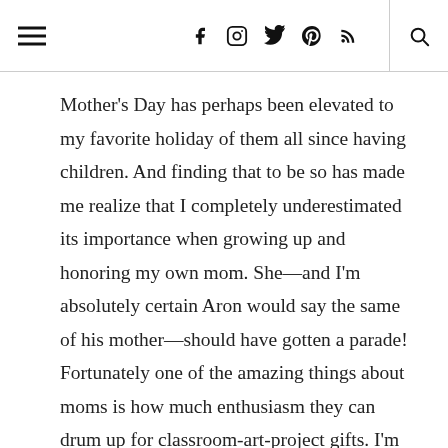[ hamburger menu ] [ f ] [ instagram ] [ twitter ] [ pinterest ] [ rss ] [ search ]
Mother's Day has perhaps been elevated to my favorite holiday of them all since having children. And finding that to be so has made me realize that I completely underestimated its importance when growing up and honoring my own mom. She—and I'm absolutely certain Aron would say the same of his mother—should have gotten a parade! Fortunately one of the amazing things about moms is how much enthusiasm they can drum up for classroom-art-project gifts. I'm looking